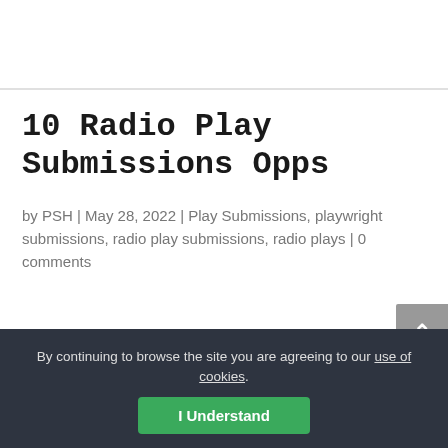10 Radio Play Submissions Opps
by PSH | May 28, 2022 | Play Submissions, playwright submissions, radio play submissions, radio plays | 0 comments
By continuing to browse the site you are agreeing to our use of cookies.
I Understand